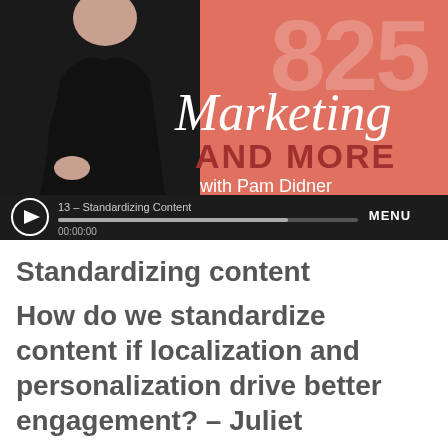[Figure (screenshot): Podcast thumbnail and audio player for 'B2B Marketing and More with Pam Didner'. Shows a person in black clothing against a salmon/coral colored background with decorative text 'Marketing AND MORE with Pam Didner' and large '825' numbers. Below is an audio player bar showing track '13 - Standardizing Content', a progress bar at 00:00:00, and a MENU button.]
Standardizing content
How do we standardize content if localization and personalization drive better engagement? – Juliet